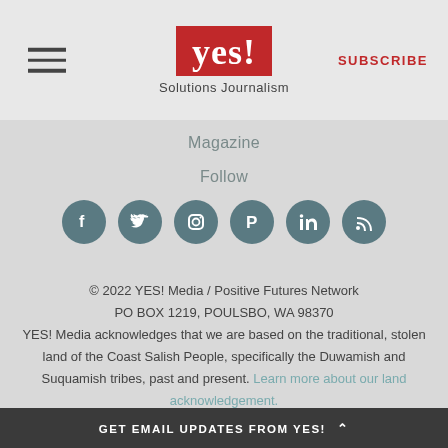YES! Solutions Journalism | SUBSCRIBE
Magazine
Follow
[Figure (illustration): Six circular social media icons: Facebook, Twitter, Instagram, Pinterest, LinkedIn, RSS feed — all in dark teal/grey color]
© 2022 YES! Media / Positive Futures Network
PO BOX 1219, POULSBO, WA 98370
YES! Media acknowledges that we are based on the traditional, stolen land of the Coast Salish People, specifically the Duwamish and Suquamish tribes, past and present. Learn more about our land acknowledgement.
800/937-4451
GET EMAIL UPDATES FROM YES!